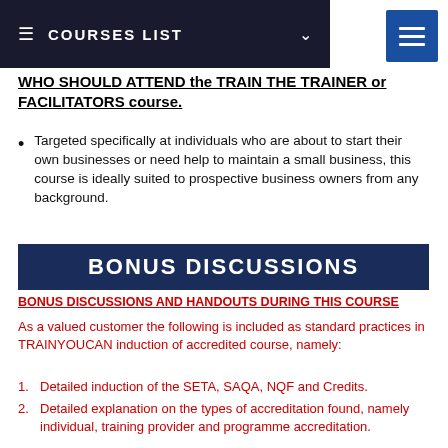COURSES LIST
WHO SHOULD ATTEND the TRAIN THE TRAINER or FACILITATORS course.
Targeted specifically at individuals who are about to start their own businesses or need help to maintain a small business, this course is ideally suited to prospective business owners from any background.
BONUS DISCUSSIONS
BONUS DISCUSSIONS AND HANDOUTS DURING THIS COURSE
As a valued customer the following is included as standard practices in TRAINYOUCAN induction of accredited course, namely:
Detailed induction of the SETA, SAQA, NQF and Credits.
Detailed explanation on the types of accreditation found, namely individual, training provider and programme accreditation.